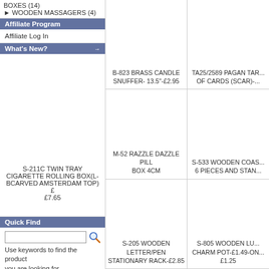BOXES (14)
▶ WOODEN MASSAGERS (4)
Affiliate Program
Affiliate Log In
What's New? →
S-211C TWIN TRAY CIGARETTE ROLLING BOX(L-BCARVED AMSTERDAM TOP)£ £7.65
Quick Find
Use keywords to find the product you are looking for.
Advanced Search
Information
Terms & Conditions
Shipping & Delivery
Links
About Us
B-823 BRASS CANDLE SNUFFER- 13.5"-£2.95
TA25/2589 PAGAN TAR... OF CARDS (SCAR)-...
M-52 RAZZLE DAZZLE PILL BOX 4CM
S-533 WOODEN COAS... 6 PIECES AND STAN...
S-205 WOODEN LETTER/PEN STATIONARY RACK-£2.85
S-805 WOODEN LU... CHARM POT-£1.49-ON... £1.25